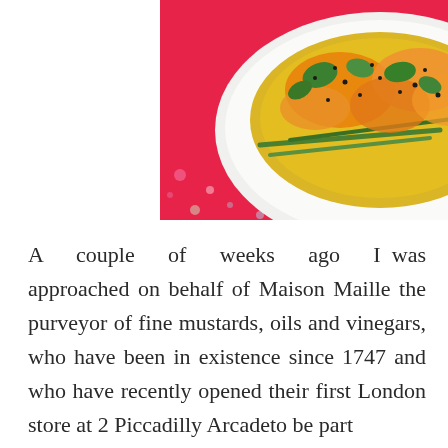[Figure (photo): A white plate with a yellow curry dish featuring green beans, leafy herbs, and black seeds, placed on a pink floral-patterned surface.]
A couple of weeks ago I was approached on behalf of Maison Maille the purveyor of fine mustards, oils and vinegars, who have been in existence since 1747 and who have recently opened their first London store at 2 Piccadilly Arcadeto be part